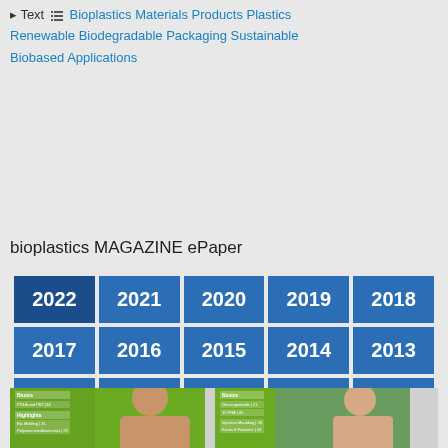▸ Text 🏷 Bioplastics  Materials  Products  Plastics  Renewable  Biodegradable  Packaging  Sustainable  Biobased  Applications
bioplastics MAGAZINE ePaper
| 2022 | 2021 | 2020 | 2019 | 2018 |
| 2017 | 2016 | 2015 | 2014 | 2013 |
| 2012 | 2011 | 2010 | 2009 | 2008 |
| 2007 | 2006 |  |  |  |
[Figure (photo): Two magazine covers side by side with green borders showing women on the covers]